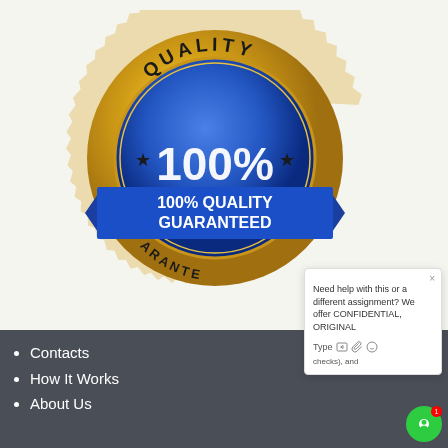[Figure (illustration): Gold and blue quality guarantee seal badge with text '100%' and '100% QUALITY GUARANTEED' on a blue ribbon banner, and 'QUALITY' text on the top arc.]
Need help with this or a different assignment? We offer CONFIDENTIAL, ORIGINAL
Type
checks), and
Contacts
How It Works
About Us